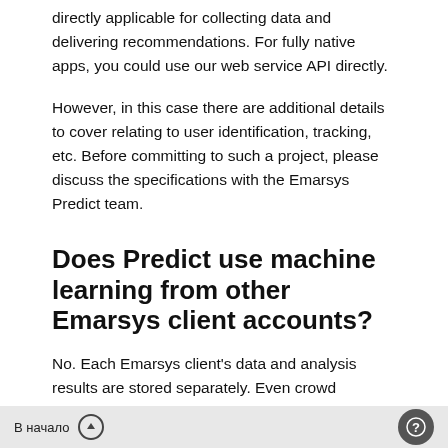directly applicable for collecting data and delivering recommendations. For fully native apps, you could use our web service API directly.
However, in this case there are additional details to cover relating to user identification, tracking, etc. Before committing to such a project, please discuss the specifications with the Emarsys Predict team.
Does Predict use machine learning from other Emarsys client accounts?
No. Each Emarsys client's data and analysis results are stored separately. Even crowd behavior from similar industry verticals is treated confidentially. We
В начало ↑